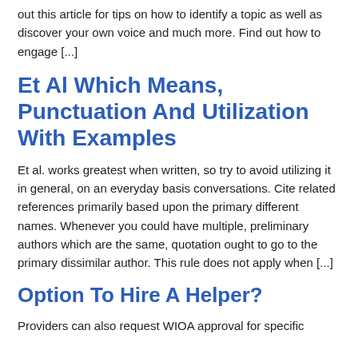out this article for tips on how to identify a topic as well as discover your own voice and much more. Find out how to engage [...]
Et Al Which Means, Punctuation And Utilization With Examples
Et al. works greatest when written, so try to avoid utilizing it in general, on an everyday basis conversations. Cite related references primarily based upon the primary different names. Whenever you could have multiple, preliminary authors which are the same, quotation ought to go to the primary dissimilar author. This rule does not apply when [...]
Option To Hire A Helper?
Providers can also request WIOA approval for specific